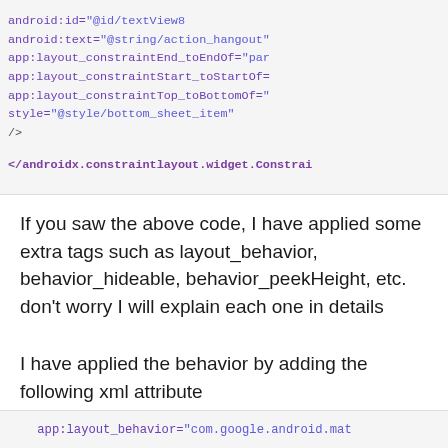[Figure (screenshot): Code block showing Android XML layout attributes including android:id, android:text, app:layout_constraintEnd_toEndOf, app:layout_constraintStart_toStartOf, app:layout_constraintTop_toBottomOf, style, and closing tag for androidx.constraintlayout.widget.ConstraintLayout]
If you saw the above code, I have applied some extra tags such as layout_behavior, behavior_hideable, behavior_peekHeight, etc. don't worry I will explain each one in details
I have applied the behavior by adding the following xml attribute
[Figure (screenshot): Code block showing app:layout_behavior="com.google.android.mat...]